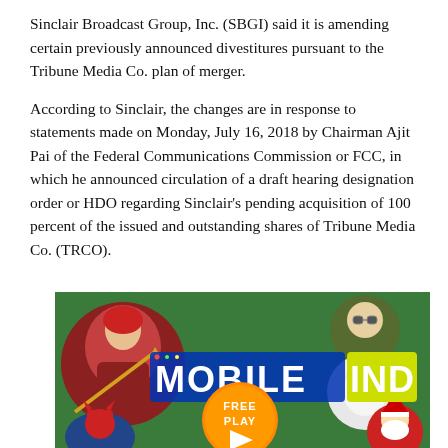Sinclair Broadcast Group, Inc. (SBGI) said it is amending certain previously announced divestitures pursuant to the Tribune Media Co. plan of merger.
According to Sinclair, the changes are in response to statements made on Monday, July 16, 2018 by Chairman Ajit Pai of the Federal Communications Commission or FCC, in which he announced circulation of a draft hearing designation order or HDO regarding Sinclair's pending acquisition of 100 percent of the issued and outstanding shares of Tribune Media Co. (TRCO).
[Figure (illustration): MobileInd logo with colorful gaming characters and 'FREE PLAY' orange circle with play button]